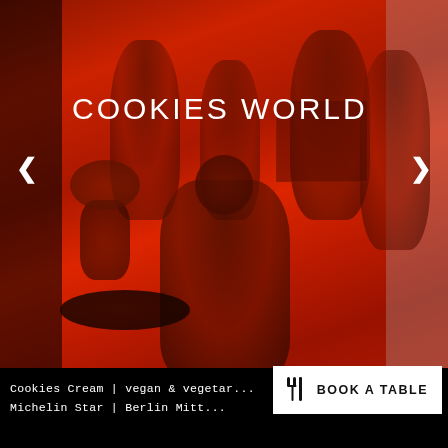[Figure (photo): Group photo of people in a restaurant/venue setting, overlaid with a strong red tint. A person is seated in the center in a dark t-shirt, surrounded by other people standing. A flower vase and round table are visible on the left. The image has navigation arrows on both sides and 'COOKIES WORLD' text overlaid at the top.]
COOKIES WORLD
Cookies Cream | vegan & vegetar...
Michelin Star | Berlin Mitt...
BOOK A TABLE